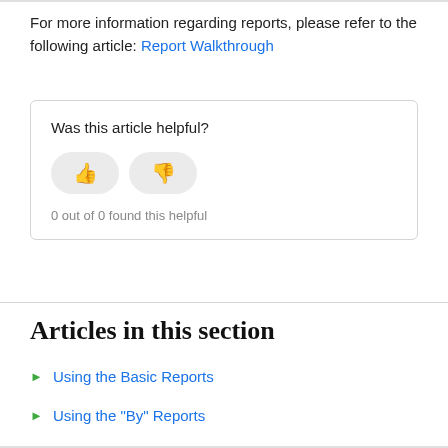For more information regarding reports, please refer to the following article: Report Walkthrough
[Figure (other): Feedback widget with thumbs up and thumbs down buttons and text 'Was this article helpful?' and '0 out of 0 found this helpful']
Articles in this section
Using the Basic Reports
Using the "By" Reports
Using List Reports